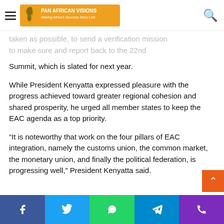Pan African Visions — Making Africa's Success Story Live
taken as possible, to send a verification mission to make sure and report back to the 22nd Summit, which is slated for next year.
While President Kenyatta expressed pleasure with the progress achieved toward greater regional cohesion and shared prosperity, he urged all member states to keep the EAC agenda as a top priority.
“It is noteworthy that work on the four pillars of EAC integration, namely the customs union, the common market, the monetary union, and finally the political federation, is progressing well,” President Kenyatta said.
He believes the DRC’s interest in joining the EAC demonstrates the EAC’s accomplishments and the prospec…
Facebook | Twitter | WhatsApp | Telegram | Phone